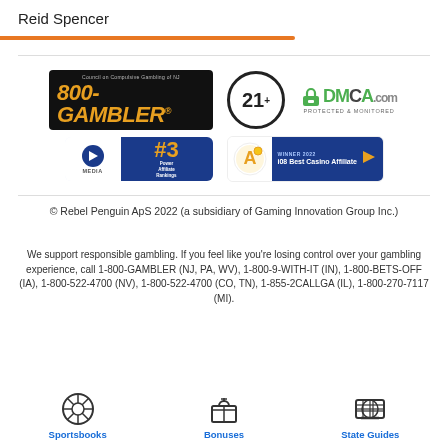Reid Spencer
[Figure (logo): 800-GAMBLER, 21+, DMCA Protected & Monitored, GiG Media #3 Power Affiliate Rankings, WINNER 2022 i08 Best Casino Affiliate logos]
© Rebel Penguin ApS 2022 (a subsidiary of Gaming Innovation Group Inc.)
We support responsible gambling. If you feel like you're losing control over your gambling experience, call 1-800-GAMBLER (NJ, PA, WV), 1-800-9-WITH-IT (IN), 1-800-BETS-OFF (IA), 1-800-522-4700 (NV), 1-800-522-4700 (CO, TN), 1-855-2CALLGA (IL), 1-800-270-7117 (MI).
Sportsbooks
Bonuses
State Guides